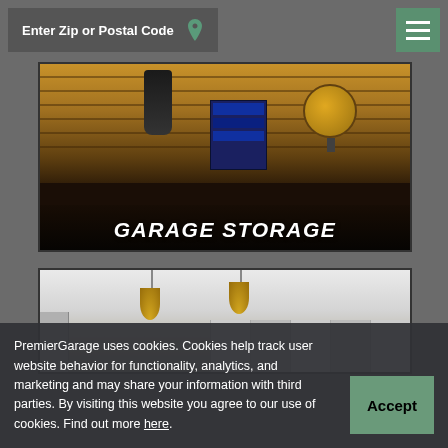Enter Zip or Postal Code
[Figure (photo): Interior garage storage room with slatwall panels, toolbox, lamp, and dark countertop. Text overlay reads GARAGE STORAGE.]
[Figure (photo): Bright garage interior with white cabinets and gold pendant lights hanging from ceiling.]
PremierGarage uses cookies. Cookies help track user website behavior for functionality, analytics, and marketing and may share your information with third parties. By visiting this website you agree to our use of cookies. Find out more here.